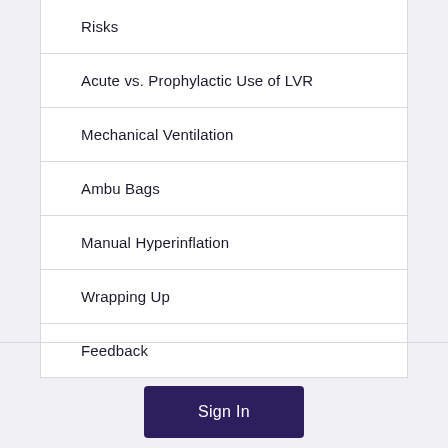Risks
Acute vs. Prophylactic Use of LVR
Mechanical Ventilation
Ambu Bags
Manual Hyperinflation
Wrapping Up
Feedback